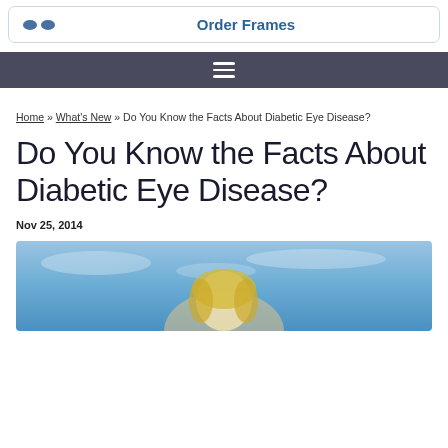Order Frames
≡ (navigation menu)
Home » What's New » Do You Know the Facts About Diabetic Eye Disease?
Do You Know the Facts About Diabetic Eye Disease?
Nov 25, 2014
[Figure (photo): A blonde woman outdoors against a blue sky background]